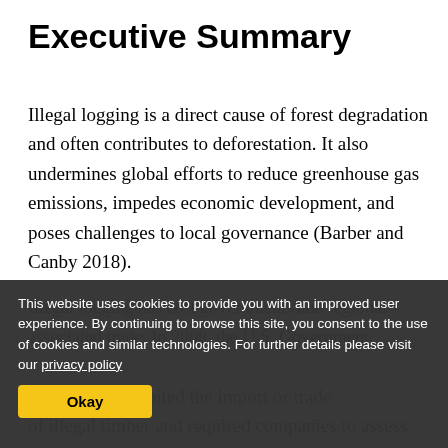Executive Summary
Illegal logging is a direct cause of forest degradation and often contributes to deforestation. It also undermines global efforts to reduce greenhouse gas emissions, impedes economic development, and poses challenges to local governance (Barber and Canby 2018).
This website uses cookies to provide you with an improved user experience. By continuing to browse this site, you consent to the use of cookies and similar technologies. For further details please visit our privacy policy
Okay
associated trade. In 2008, the U.S. Government
a law that prohibited the import or trade of illegal timber and required companies to assess and manage the risk of introducing illegal wood